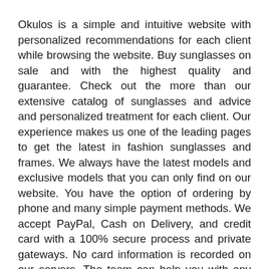Okulos is a simple and intuitive website with personalized recommendations for each client while browsing the website. Buy sunglasses on sale and with the highest quality and guarantee. Check out the more than our extensive catalog of sunglasses and advice and personalized treatment for each client. Our experience makes us one of the leading pages to get the latest in fashion sunglasses and frames. We always have the latest models and exclusive models that you can only find on our website. You have the option of ordering by phone and many simple payment methods. We accept PayPal, Cash on Delivery, and credit card with a 100% secure process and private gateways. No card information is recorded on our servers. The team can help you with any questions you have regarding sunglasses, prescription glasses, and contact lenses. A big thanks for entering our page and we hope Okulos becomes your trusted online optician. Enjoy online shopping via Okulos discount code.